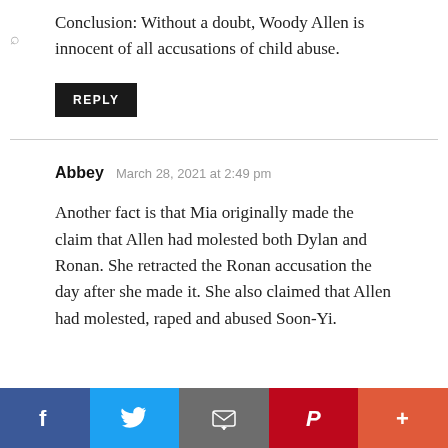Conclusion: Without a doubt, Woody Allen is innocent of all accusations of child abuse.
REPLY
Abbey  March 28, 2021 at 2:49 pm
Another fact is that Mia originally made the claim that Allen had molested both Dylan and Ronan. She retracted the Ronan accusation the day after she made it. She also claimed that Allen had molested, raped and abused Soon-Yi.
[Figure (infographic): Social media share bar with Facebook (blue), Twitter (light blue), Email (gray), Pinterest (red), and More (+) (orange-red) buttons]